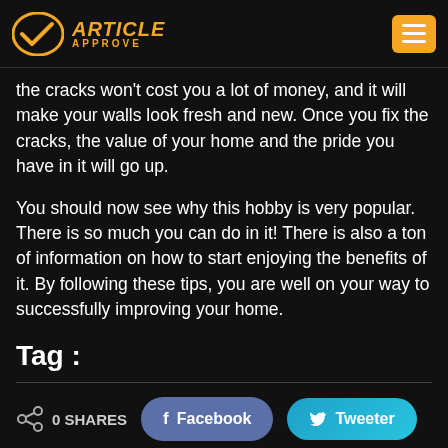Article Approve
the cracks won't cost you a lot of money, and it will make your walls look fresh and new. Once you fix the cracks, the value of your home and the pride you have in it will go up.
You should now see why this hobby is very popular. There is so much you can do in it! There is also a ton of information on how to start enjoying the benefits of it. By following these tips, you are well on your way to successfully improving your home.
Tag :
0 SHARES
Facebook
Tweeter